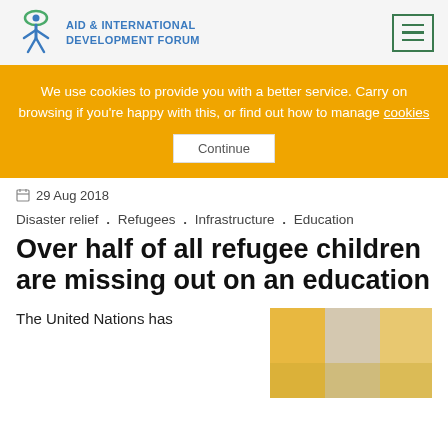AID & INTERNATIONAL DEVELOPMENT FORUM
We use cookies to provide you with a better service. Carry on browsing if you're happy with this, or find out how to manage cookies  Continue
29 Aug 2018
Disaster relief . Refugees . Infrastructure . Education
Over half of all refugee children are missing out on an education
The United Nations has
[Figure (photo): Photo of children in a classroom setting]